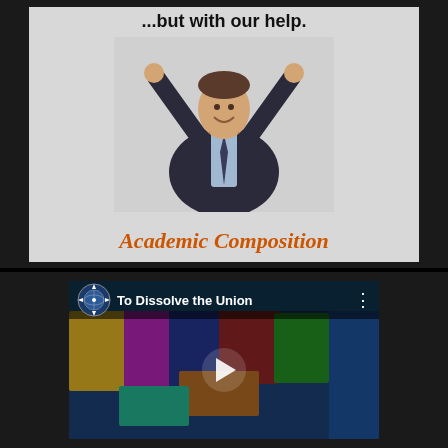[Figure (illustration): Advertisement image for 'Academic Composition' showing a man in a suit with arms raised in celebration against a gray background, with text '...but with our help.' at top and 'Academic Composition' in orange italic at bottom.]
[Figure (screenshot): YouTube video thumbnail showing a colored map of the United States with title 'To Dissolve the Union' and a compass/globe channel icon. Play button visible in center.]